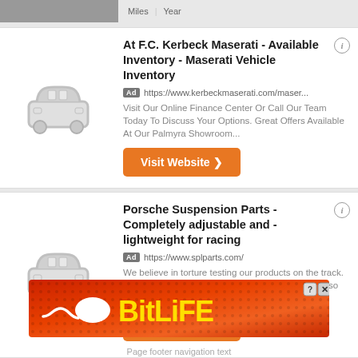[Figure (screenshot): Top navigation bar with photo thumbnail and tab labels]
At F.C. Kerbeck Maserati - Available Inventory - Maserati Vehicle Inventory
Ad https://www.kerbeckmaserati.com/maser...
Visit Our Online Finance Center Or Call Our Team Today To Discuss Your Options. Great Offers Available At Our Palmyra Showroom...
Porsche Suspension Parts - Completely adjustable and - lightweight for racing
Ad https://www.splparts.com/
We believe in torture testing our products on the track. Set your caster, camber and eliminate bump steer so you can hammer...
[Figure (logo): BitLife advertisement banner with sperm logo and yellow text on red background]
Page footer navigation text